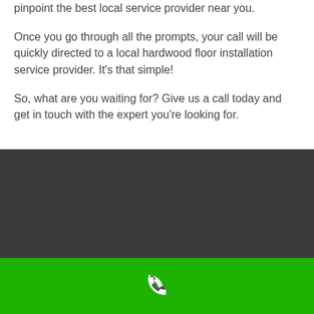pinpoint the best local service provider near you.
Once you go through all the prompts, your call will be quickly directed to a local hardwood floor installation service provider. It’s that simple!
So, what are you waiting for? Give us a call today and get in touch with the expert you’re looking for.
[Figure (other): Dark gray footer section with a green call-to-action bar at the bottom containing a white phone icon]